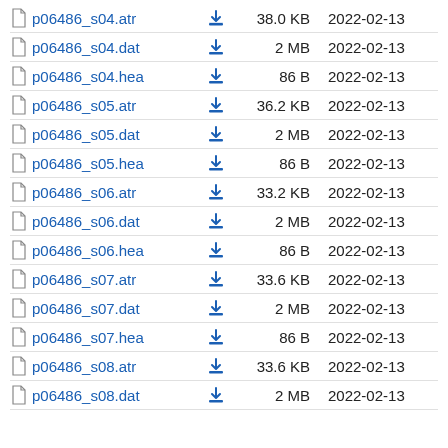p06486_s04.atr  38.0 KB  2022-02-13
p06486_s04.dat  2 MB  2022-02-13
p06486_s04.hea  86 B  2022-02-13
p06486_s05.atr  36.2 KB  2022-02-13
p06486_s05.dat  2 MB  2022-02-13
p06486_s05.hea  86 B  2022-02-13
p06486_s06.atr  33.2 KB  2022-02-13
p06486_s06.dat  2 MB  2022-02-13
p06486_s06.hea  86 B  2022-02-13
p06486_s07.atr  33.6 KB  2022-02-13
p06486_s07.dat  2 MB  2022-02-13
p06486_s07.hea  86 B  2022-02-13
p06486_s08.atr  33.6 KB  2022-02-13
p06486_s08.dat  2 MB  2022-02-13